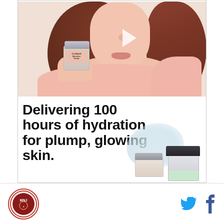[Figure (photo): Woman holding Clinique moisturizer cream jar, with play button overlay, wearing pink top, with brown hair, white background. Clinique product promotion image.]
Delivering 100 hours of hydration for plump, glowing skin.
[Figure (photo): Clinique moisturizer product jars with gel/cream texture swipe, shown at bottom right of advertisement panel.]
MNJ logo | Twitter icon | Facebook icon